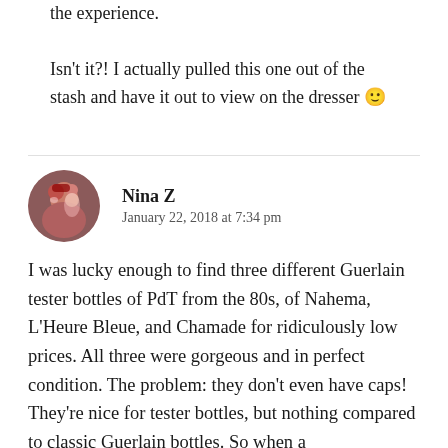the experience. Isn't it?! I actually pulled this one out of the stash and have it out to view on the dresser 🙂
Nina Z
January 22, 2018 at 7:34 pm
I was lucky enough to find three different Guerlain tester bottles of PdT from the 80s, of Nahema, L'Heure Bleue, and Chamade for ridiculously low prices. All three were gorgeous and in perfect condition. The problem: they don't even have caps! They're nice for tester bottles, but nothing compared to classic Guerlain bottles. So when a